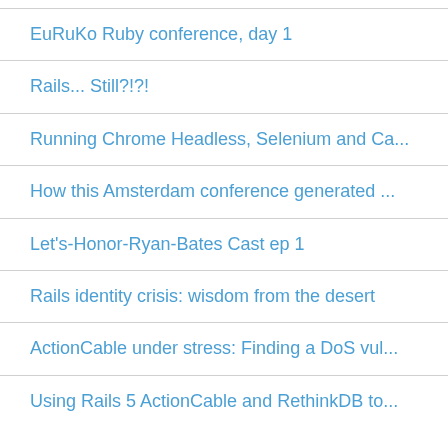EuRuKo Ruby conference, day 1
Rails... Still?!?!
Running Chrome Headless, Selenium and Ca...
How this Amsterdam conference generated ...
Let's-Honor-Ryan-Bates Cast ep 1
Rails identity crisis: wisdom from the desert
ActionCable under stress: Finding a DoS vul...
Using Rails 5 ActionCable and RethinkDB to...